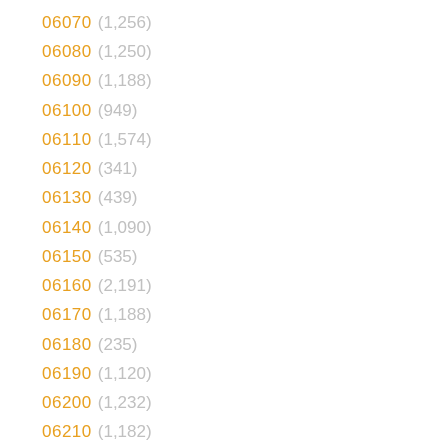06070 (1,256)
06080 (1,250)
06090 (1,188)
06100 (949)
06110 (1,574)
06120 (341)
06130 (439)
06140 (1,090)
06150 (535)
06160 (2,191)
06170 (1,188)
06180 (235)
06190 (1,120)
06200 (1,232)
06210 (1,182)